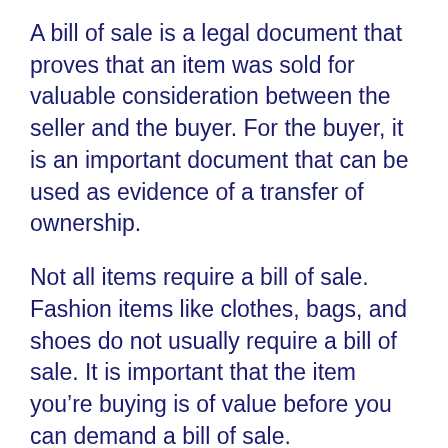A bill of sale is a legal document that proves that an item was sold for valuable consideration between the seller and the buyer. For the buyer, it is an important document that can be used as evidence of a transfer of ownership.
Not all items require a bill of sale. Fashion items like clothes, bags, and shoes do not usually require a bill of sale. It is important that the item you’re buying is of value before you can demand a bill of sale.
A bill of sale is required in many states usually for items with value such as aircraft, autos, motorcycles, and watercraft. It is also used as a record of sale for personal properties like branded horses or furniture